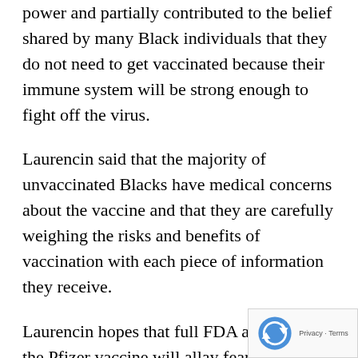power and partially contributed to the belief shared by many Black individuals that they do not need to get vaccinated because their immune system will be strong enough to fight off the virus.
Laurencin said that the majority of unvaccinated Blacks have medical concerns about the vaccine and that they are carefully weighing the risks and benefits of vaccination with each piece of information they receive.
Laurencin hopes that full FDA approval of the Pfizer vaccine will allay fears within the Black community. However, Laurencin said that if the state truly wants to motivate its Black population, Connecticut must bring Black physicians, nurses and health